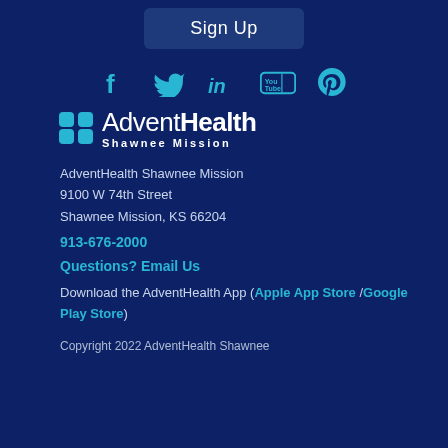Sign Up
[Figure (illustration): Social media icons: Facebook, Twitter, LinkedIn, YouTube, Pinterest in teal/cyan color on dark navy background]
[Figure (logo): AdventHealth Shawnee Mission logo with four-petal flower icon in teal, white text 'AdventHealth' and 'Shawnee Mission']
AdventHealth Shawnee Mission
9100 W 74th Street
Shawnee Mission, KS 66204
913-676-2000
Questions? Email Us
Download the AdventHealth App (Apple App Store / Google Play Store)
Copyright 2022 AdventHealth Shawnee